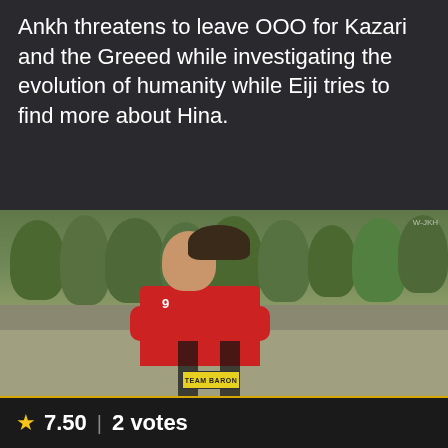Ankh threatens to leave OOO for Kazari and the Greeed while investigating the evolution of humanity while Eiji tries to find more about Hina.
[Figure (photo): A young man with dark hair wearing a red and black striped soccer jersey labeled 'TEAM BARON' with number 9, standing with arms crossed in front of trimmed green hedges/trees outdoors.]
★ 7.50  |  2 votes